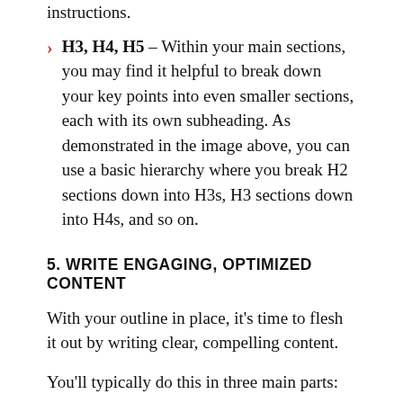instructions.
H3, H4, H5 – Within your main sections, you may find it helpful to break down your key points into even smaller sections, each with its own subheading. As demonstrated in the image above, you can use a basic hierarchy where you break H2 sections down into H3s, H3 sections down into H4s, and so on.
5. WRITE ENGAGING, OPTIMIZED CONTENT
With your outline in place, it's time to flesh it out by writing clear, compelling content.
You'll typically do this in three main parts:
1. INTRODUCTION